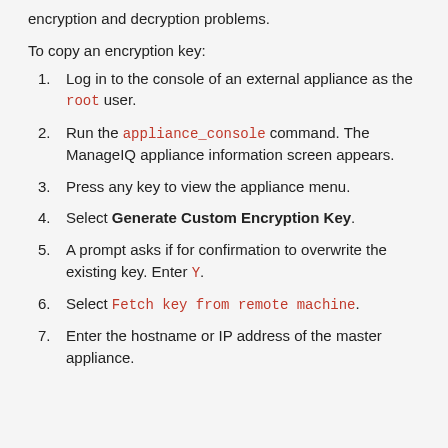encryption and decryption problems.
To copy an encryption key:
1. Log in to the console of an external appliance as the root user.
2. Run the appliance_console command. The ManageIQ appliance information screen appears.
3. Press any key to view the appliance menu.
4. Select Generate Custom Encryption Key.
5. A prompt asks if for confirmation to overwrite the existing key. Enter Y.
6. Select Fetch key from remote machine.
7. Enter the hostname or IP address of the master appliance.